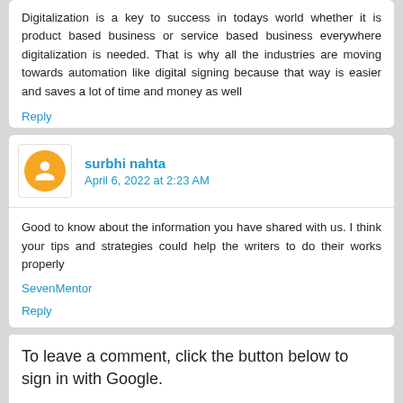Digitalization is a key to success in todays world whether it is product based business or service based business everywhere digitalization is needed. That is why all the industries are moving towards automation like digital signing because that way is easier and saves a lot of time and money as well
Reply
surbhi nahta
April 6, 2022 at 2:23 AM
Good to know about the information you have shared with us. I think your tips and strategies could help the writers to do their works properly
SevenMentor
Reply
To leave a comment, click the button below to sign in with Google.
SIGN IN WITH GOOGLE